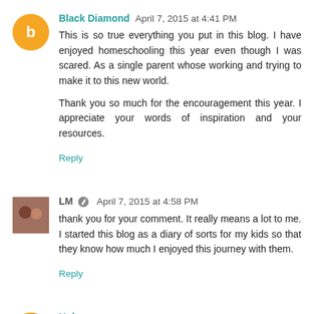Black Diamond  April 7, 2015 at 4:41 PM
This is so true everything you put in this blog. I have enjoyed homeschooling this year even though I was scared. As a single parent whose working and trying to make it to this new world.

Thank you so much for the encouragement this year. I appreciate your words of inspiration and your resources.
Reply
LM  April 7, 2015 at 4:58 PM
thank you for your comment. It really means a lot to me. I started this blog as a diary of sorts for my kids so that they know how much I enjoyed this journey with them.
Reply
Unknown  April 10, 2015 at 3:53 PM